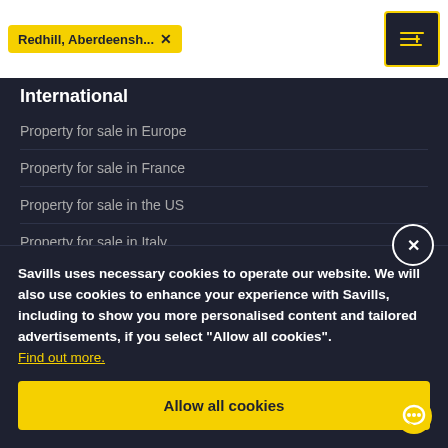[Figure (screenshot): Search bar with yellow tag showing 'Redhill, Aberdeensh...' with X button, and a yellow-bordered filter icon button on the right]
International
Property for sale in Europe
Property for sale in France
Property for sale in the US
Property for sale in Italy
Savills uses necessary cookies to operate our website. We will also use cookies to enhance your experience with Savills, including to show you more personalised content and tailored advertisements, if you select “Allow all cookies”. Find out more.
Allow all cookies